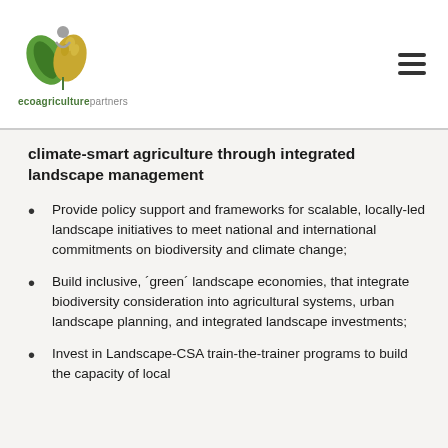ecoagriculturepartners
climate-smart agriculture through integrated landscape management
Provide policy support and frameworks for scalable, locally-led landscape initiatives to meet national and international commitments on biodiversity and climate change;
Build inclusive, ´green´ landscape economies, that integrate biodiversity consideration into agricultural systems, urban landscape planning, and integrated landscape investments;
Invest in Landscape-CSA train-the-trainer programs to build the capacity of local